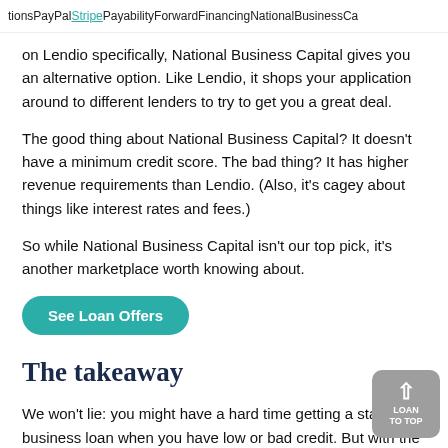tions   PayPal   Stripe   Payability   ForwardFinancing   NationalBusinessCa
on Lendio specifically, National Business Capital gives you an alternative option. Like Lendio, it shops your application around to different lenders to try to get you a great deal.
The good thing about National Business Capital? It doesn't have a minimum credit score. The bad thing? It has higher revenue requirements than Lendio. (Also, it's cagey about things like interest rates and fees.)
So while National Business Capital isn't our top pick, it's another marketplace worth knowing about.
See Loan Offers
The takeaway
We won't lie: you might have a hard time getting a startup business loan when you have low or bad credit. But with the loan providers above, you'll at least have a chance.